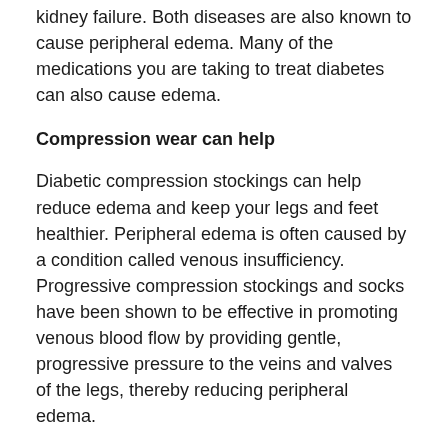kidney failure. Both diseases are also known to cause peripheral edema. Many of the medications you are taking to treat diabetes can also cause edema.
Compression wear can help
Diabetic compression stockings can help reduce edema and keep your legs and feet healthier. Peripheral edema is often caused by a condition called venous insufficiency. Progressive compression stockings and socks have been shown to be effective in promoting venous blood flow by providing gentle, progressive pressure to the veins and valves of the legs, thereby reducing peripheral edema.
Wearing graduated compression stockings and stockings can help reduce and maintain edema in patients with venous insufficiency. Most people with diabetes experience less swelling when wearing Sigvaris Diabetic Compression Stockings.
Find the Right Diabetic Socks